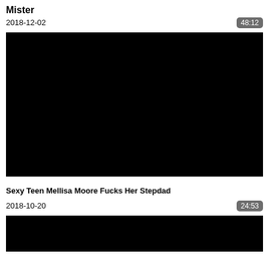Mister
2018-12-02
48:12
[Figure (photo): Black video thumbnail]
Sexy Teen Mellisa Moore Fucks Her Stepdad
2018-10-20
24:53
[Figure (photo): Black video thumbnail (partial)]